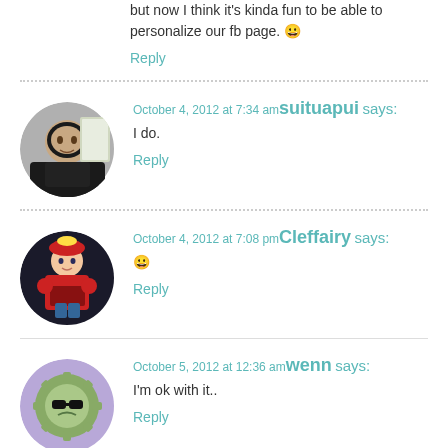but now I think it's kinda fun to be able to personalize our fb page. 😀
Reply
October 4, 2012 at 7:34 am suituapui says:
I do.
Reply
October 4, 2012 at 7:08 pm Cleffairy says:
😀
Reply
October 5, 2012 at 12:36 am wenn says:
I'm ok with it..
Reply